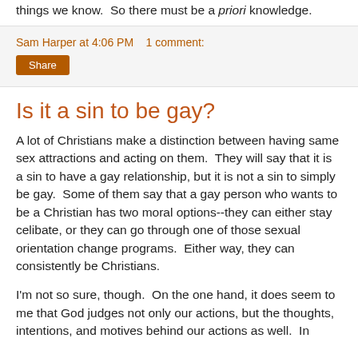things we know.  So there must be a priori knowledge.
Sam Harper at 4:06 PM    1 comment:
Share
Is it a sin to be gay?
A lot of Christians make a distinction between having same sex attractions and acting on them.  They will say that it is a sin to have a gay relationship, but it is not a sin to simply be gay.  Some of them say that a gay person who wants to be a Christian has two moral options--they can either stay celibate, or they can go through one of those sexual orientation change programs.  Either way, they can consistently be Christians.
I'm not so sure, though.  On the one hand, it does seem to me that God judges not only our actions, but the thoughts, intentions, and motives behind our actions as well.  In